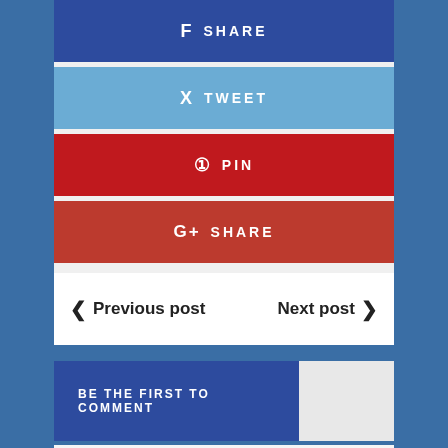[Figure (infographic): Facebook Share button - dark blue with f icon and SHARE text]
[Figure (infographic): Twitter Tweet button - light blue with bird icon and TWEET text]
[Figure (infographic): Pinterest Pin button - red with Pinterest icon and PIN text]
[Figure (infographic): Google+ Share button - dark red with g+ icon and SHARE text]
< Previous post    Next post >
BE THE FIRST TO COMMENT
Leave a comment